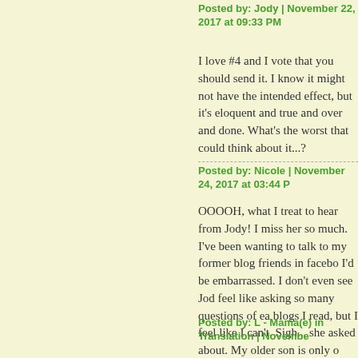Posted by: Jody | November 22, 2017 at 09:33 PM
I love #4 and I vote that you should send it. I know it might not have the intended effect, but it's eloquent and true and over and done. What's the worst that could happen, do you think about it...?
Posted by: Nicole | November 24, 2017 at 03:44 PM
OOOOH, what I treat to hear from Jody! I miss her so much. I've been wanting to talk to my former blog friends in facebook but I don't know if they still remember me and I'd be embarrassed. I don't even see Jody in facebook! Oh I miss those days when we'd feel like asking so many questions of each other and commenting on each other's blogs I read, but I feel like I can't. Sigh... And yes, I want to know the update that she asked about. My older son is only one year older than Jody's son I think. And I know I'll go to NC someday and I really must meet you (and you too of course) as well as Aliki when that happens. Sorry for the jumbled comment. I just got too excited.
Posted by: L - Mama(e) in Translation | November...
The comments to this entry are closed.